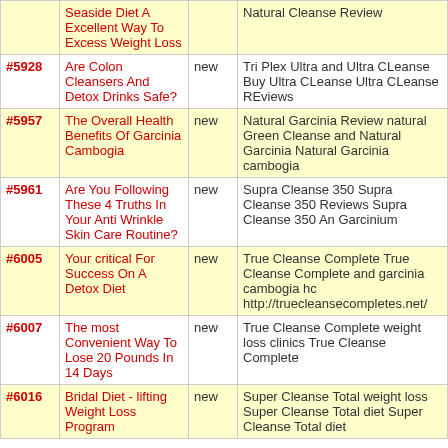| ID | Title | Status | Keywords |
| --- | --- | --- | --- |
|  | Seaside Diet A Excellent Way To Excess Weight Loss |  | Natural Cleanse Review |
| #5928 | Are Colon Cleansers And Detox Drinks Safe? | new | Tri Plex Ultra and Ultra CLeanse Buy Ultra CLeanse Ultra CLeanse REviews |
| #5957 | The Overall Health Benefits Of Garcinia Cambogia | new | Natural Garcinia Review natural Green Cleanse and Natural Garcinia Natural Garcinia cambogia |
| #5961 | Are You Following These 4 Truths In Your Anti Wrinkle Skin Care Routine? | new | Supra Cleanse 350 Supra Cleanse 350 Reviews Supra Cleanse 350 An Garcinium |
| #6005 | Your critical For Success On A Detox Diet | new | True Cleanse Complete True Cleanse Complete and garcinia cambogia hc http://truecleansecompletes.net/ |
| #6007 | The most Convenient Way To Lose 20 Pounds In 14 Days | new | True Cleanse Complete weight loss clinics True Cleanse Complete |
| #6016 | Bridal Diet - lifting Weight Loss Program | new | Super Cleanse Total weight loss Super Cleanse Total diet Super Cleanse Total diet |